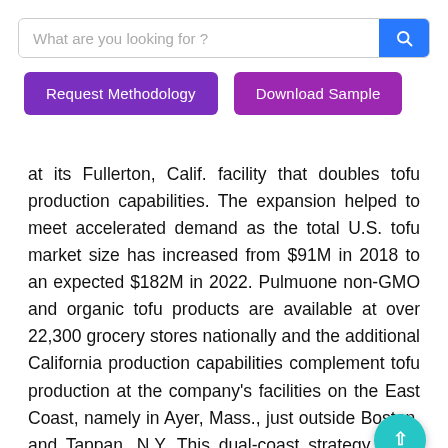[Figure (screenshot): Search bar with placeholder text 'What are you looking for ?' and a blue search button with magnifying glass icon]
[Figure (screenshot): Two buttons: 'Request Methodology' (purple) and 'Download Sample' (purple)]
at its Fullerton, Calif. facility that doubles tofu production capabilities. The expansion helped to meet accelerated demand as the total U.S. tofu market size has increased from $91M in 2018 to an expected $182M in 2022. Pulmuone non-GMO and organic tofu products are available at over 22,300 grocery stores nationally and the additional California production capabilities complement tofu production at the company’s facilities on the East Coast, namely in Ayer, Mass., just outside Boston, and Tappan, N.Y. This dual-coast strategy gives Pulmuone added efficiencies in